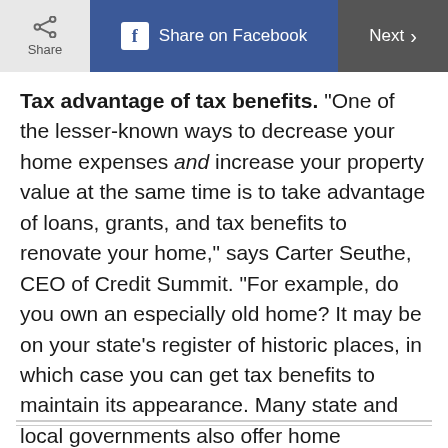Share | Share on Facebook | Next >
Tax advantage of tax benefits. "One of the lesser-known ways to decrease your home expenses and increase your property value at the same time is to take advantage of loans, grants, and tax benefits to renovate your home," says Carter Seuthe, CEO of Credit Summit. "For example, do you own an especially old home? It may be on your state’s register of historic places, in which case you can get tax benefits to maintain its appearance. Many state and local governments also offer home improvement loans at below-market rates, in some cases even lower than inflation."